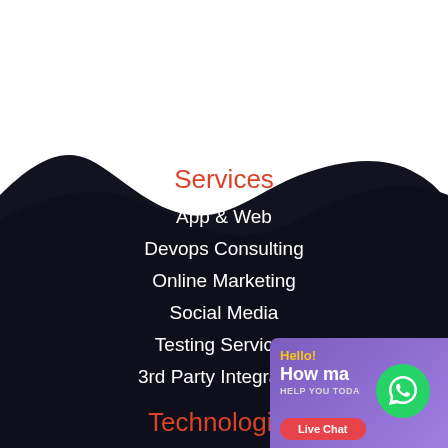[Figure (illustration): Dark navy wave-shaped background section transitioning from white at top to dark navy blue below, with organic wave shape at the boundary.]
Services
App & Web
Devops Consulting
Online Marketing
Social Media
Testing Services
3rd Party Integration
Technologies
[Figure (screenshot): WhatsApp live chat widget overlay in bottom right corner with purple background, Hello! text in yellow, 'How ma[y I]' in white, 'HELP YOU TODA[Y]' in light text, green WhatsApp circle icon, and red Live Chat button.]